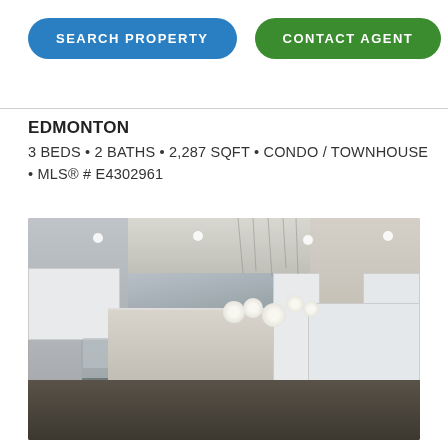SEARCH PROPERTY
CONTACT AGENT
EDMONTON
3 BEDS • 2 BATHS • 2,287 SQFT • CONDO / TOWNHOUSE • MLS® # E4302961
[Figure (photo): Interior kitchen photo of a modern townhouse/condo in Edmonton. Features white cabinets, stainless steel appliances, large island, pendant light cluster, recessed lighting, and dark hardwood floors.]